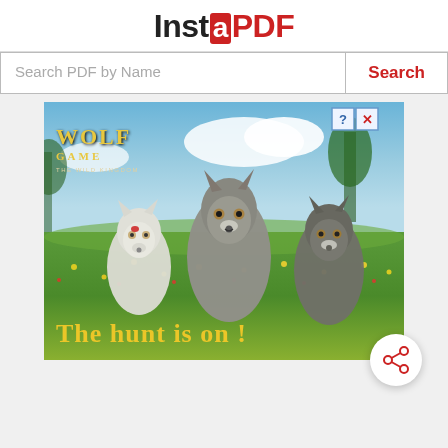InstaPDF
Search PDF by Name
[Figure (photo): Wolf Game: The Wild Kingdom advertisement showing three wolves in a flower field with text 'The Hunt is on!']